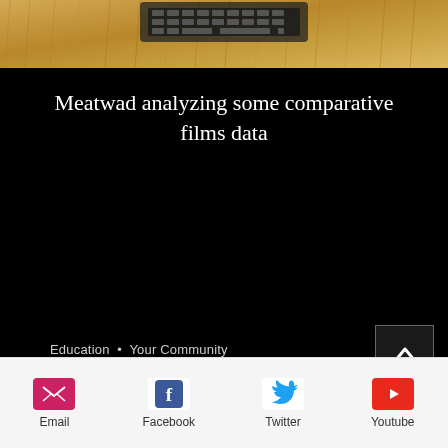[Figure (photo): Photo of a laptop keyboard resting on a golden/brown fleece or fur blanket, partially visible at the top of the page]
Meatwad analyzing some comparative films data
Education • Your Community
[Figure (other): Back to top arrow button (chevron up icon) in a dark box on the right side]
[Figure (other): Social media share icons row at bottom: Email, Facebook, Twitter, Youtube]